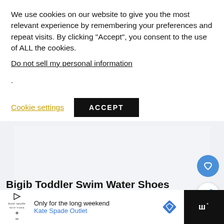We use cookies on our website to give you the most relevant experience by remembering your preferences and repeat visits. By clicking “Accept”, you consent to the use of ALL the cookies.
Do not sell my personal information.
Cookie settings
ACCEPT
[Figure (other): Product image area showing light gray/white background placeholder for Bigib Toddler Swim Water Shoes]
Bigib Toddler Swim Water Shoes
Only for the long weekend Kate Spade Outlet